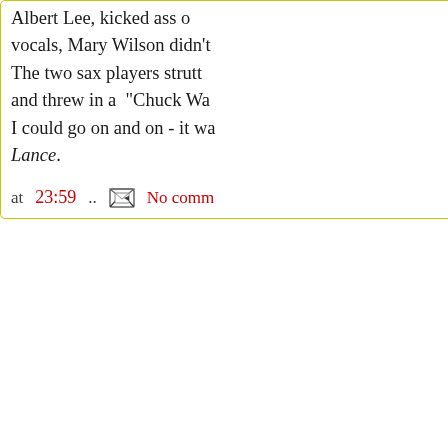Albert Lee, kicked ass on vocals, Mary Wilson didn't. The two sax players strutt and threw in a "Chuck Wa I could go on and on - it wa Lance.
at 23:59.. [email icon] No comm
Friday, October 28, 2011
Bell and Bucket Ne
Ruth Lambert posted this o Stonkingly good night las Janey Bee, Dennis Dillo Michael Kennedy, JD O' Ken, Edd, Micky Darren today but by gum it was Lance.